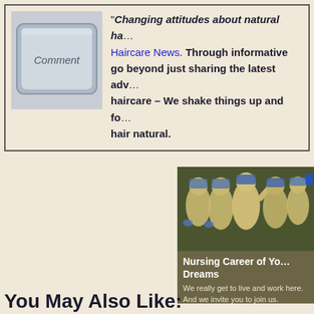[Figure (photo): Photo of a keyboard Comment key (light gray key with 'Comment' label)]
“Changing attitudes about natural ha… Haircare News. Through informative go beyond just sharing the latest adv… haircare – We shake things up and fo… hair natural.
[Figure (photo): Group of medical workers in PPE (gowns, masks, gloves, hair covers) posing together]
Nursing Career of Your Dreams
We really get to live and work here. And we invite you to join us.
St. Charles Health System
You May Also Like: